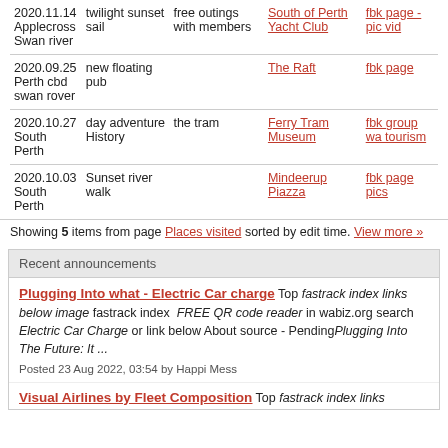| Date/Location | Event | Details | Venue | Links |
| --- | --- | --- | --- | --- |
| 2020.11.14 Applecross Swan river | twilight sunset sail | free outings with members | South of Perth Yacht Club | fbk page - pic vid |
| 2020.09.25 Perth cbd swan rover | new floating pub |  | The Raft | fbk page |
| 2020.10.27 South Perth | day adventure History | the tram | Ferry Tram Museum | fbk group wa tourism |
| 2020.10.03 South Perth | Sunset river walk |  | Mindeerup Piazza | fbk page pics |
Showing 5 items from page Places visited sorted by edit time. View more »
Recent announcements
Plugging Into what - Electric Car charge Top fastrack index links below image fastrack index  FREE QR code reader in wabiz.org search Electric Car Charge or link below About source - PendingPlugging Into The Future: It ...
Posted 23 Aug 2022, 03:54 by Happi Mess
Visual Airlines by Fleet Composition Top fastrack index links